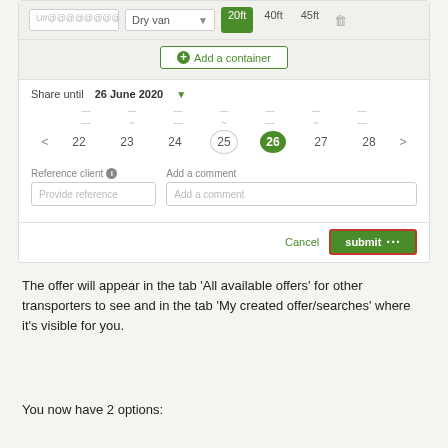[Figure (screenshot): Form UI showing container number input (Dry van type, 20ft selected), Add a container button, Share until 26 June 2020 date picker with days 22-28 shown, Reference client and Add a comment fields, Cancel and Submit buttons]
The offer will appear in the tab 'All available offers' for other transporters to see and in the tab 'My created offer/searches' where it's visible for you.
You now have 2 options: